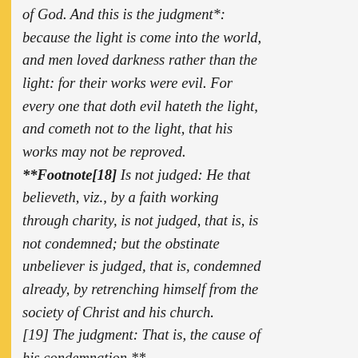of God. And this is the judgment*: because the light is come into the world, and men loved darkness rather than the light: for their works were evil. For every one that doth evil hateth the light, and cometh not to the light, that his works may not be reproved. **Footnote[18] Is not judged: He that believeth, viz., by a faith working through charity, is not judged, that is, is not condemned; but the obstinate unbeliever is judged, that is, condemned already, by retrenching himself from the society of Christ and his church. [19] The judgment: That is, the cause of his condemnation.**